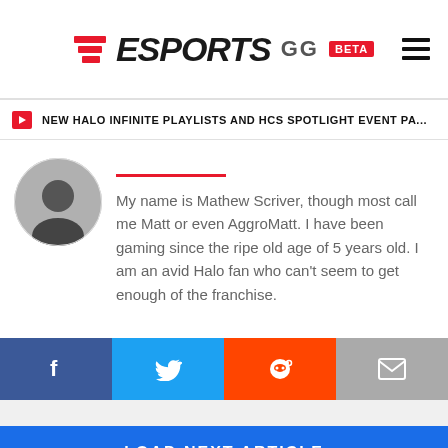ESPORTS GG BETA
NEW HALO INFINITE PLAYLISTS AND HCS SPOTLIGHT EVENT PA...
[Figure (photo): Author avatar photo, circular crop, dark image of a person]
My name is Mathew Scriver, though most call me Matt or even AggroMatt. I have been gaming since the ripe old age of 5 years old. I am an avid Halo fan who can't seem to get enough of the franchise.
[Figure (infographic): Social sharing buttons bar: Facebook (dark blue), Twitter (light blue), Reddit (orange), Email (gray)]
LOAD NEXT ARTICLE